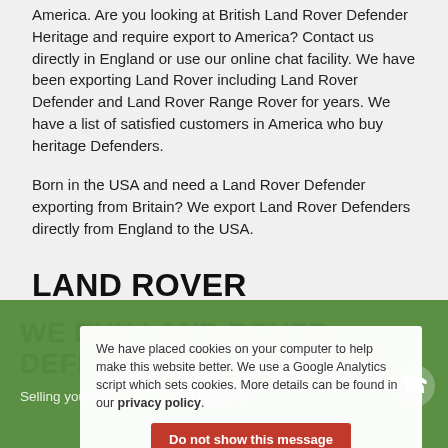America. Are you looking at British Land Rover Defender Heritage and require export to America? Contact us directly in England or use our online chat facility. We have been exporting Land Rover including Land Rover Defender and Land Rover Range Rover for years. We have a list of satisfied customers in America who buy heritage Defenders.
Born in the USA and need a Land Rover Defender exporting from Britain? We export Land Rover Defenders directly from England to the USA.
LAND ROVER DEFENDER PARTS SPECIALIST IN CROYDON
Need parts for a Defender? Contact us via online chat or call us for all parts for Defenders.
WE BUY LAND ROVER DEFENDERS IN CROYDON
Selling your def... call today for
We have placed cookies on your computer to help make this website better. We use a Google Analytics script which sets cookies. More details can be found in our privacy policy.
Do not show this message again